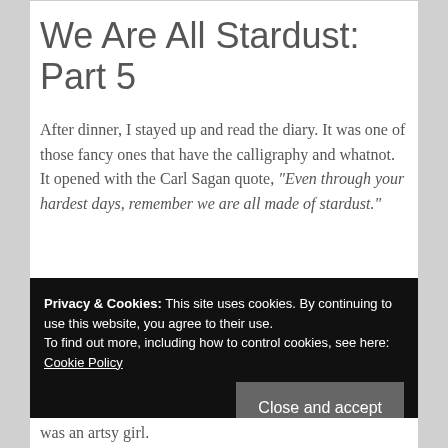We Are All Stardust: Part 5
After dinner, I stayed up and read the diary. It was one of those fancy ones that have the calligraphy and whatnot. It opened with the Carl Sagan quote, “Even through your hardest days, remember we are all made of stardust.”
Privacy & Cookies: This site uses cookies. By continuing to use this website, you agree to their use.
To find out more, including how to control cookies, see here: Cookie Policy
was an artsy girl.